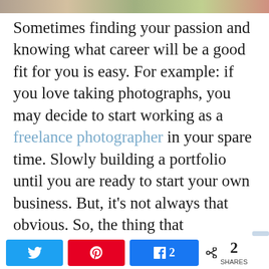[Figure (photo): Partial image strip at top of page showing colorful photo content]
Sometimes finding your passion and knowing what career will be a good fit for you is easy. For example: if you love taking photographs, you may decide to start working as a freelance photographer in your spare time. Slowly building a portfolio until you are ready to start your own business. But, it's not always that obvious. So, the thing that
Twitter share button, Pinterest save button, Facebook share button with count 2, share icon with 2 SHARES